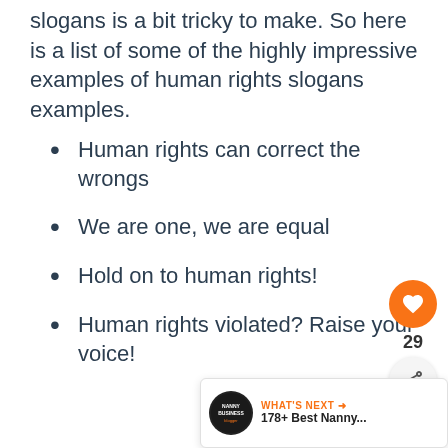slogans is a bit tricky to make. So here is a list of some of the highly impressive examples of human rights slogans examples.
Human rights can correct the wrongs
We are one, we are equal
Hold on to human rights!
Human rights violated? Raise your voice!